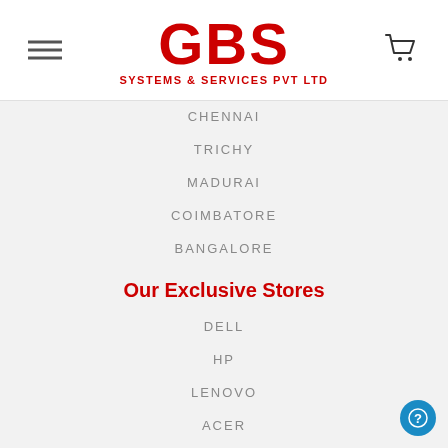[Figure (logo): GBS Systems & Services Pvt Ltd logo in red with hamburger menu and cart icon]
CHENNAI
TRICHY
MADURAI
COIMBATORE
BANGALORE
Our Exclusive Stores
DELL
HP
LENOVO
ACER